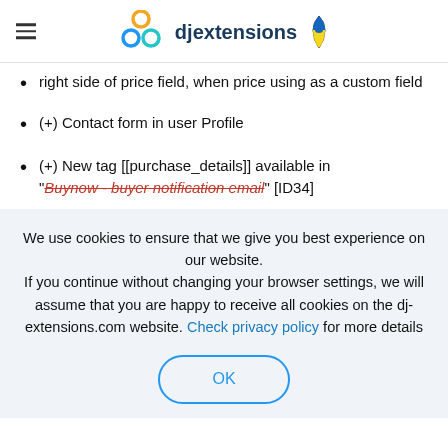djextensions
right side of price field, when price using as a custom field
(+) Contact form in user Profile
(+) New tag [[purchase_details]] available in "Buynow - buyer notification email" [ID34]
We use cookies to ensure that we give you best experience on our website. If you continue without changing your browser settings, we will assume that you are happy to receive all cookies on the dj-extensions.com website. Check privacy policy for more details